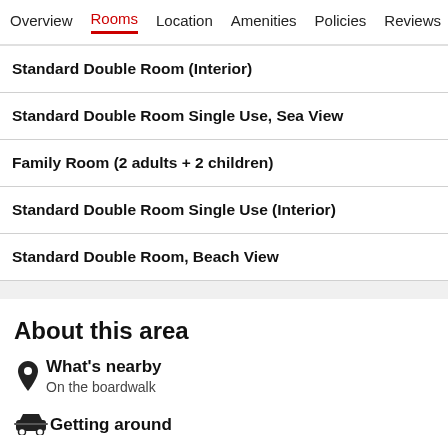Overview  Rooms  Location  Amenities  Policies  Reviews
Standard Double Room (Interior)
Standard Double Room Single Use, Sea View
Family Room (2 adults + 2 children)
Standard Double Room Single Use (Interior)
Standard Double Room, Beach View
About this area
What's nearby
On the boardwalk
Getting around